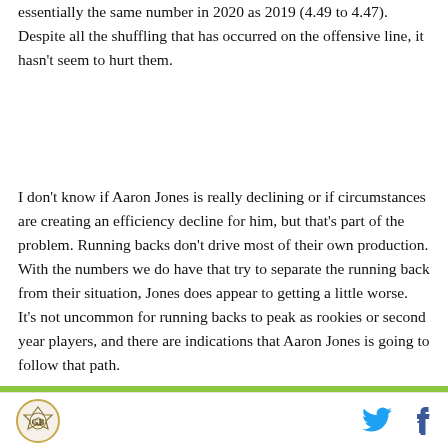essentially the same number in 2020 as 2019 (4.49 to 4.47). Despite all the shuffling that has occurred on the offensive line, it hasn't seem to hurt them.
I don't know if Aaron Jones is really declining or if circumstances are creating an efficiency decline for him, but that's part of the problem. Running backs don't drive most of their own production. With the numbers we do have that try to separate the running back from their situation, Jones does appear to getting a little worse. It's not uncommon for running backs to peak as rookies or second year players, and there are indications that Aaron Jones is going to follow that path.